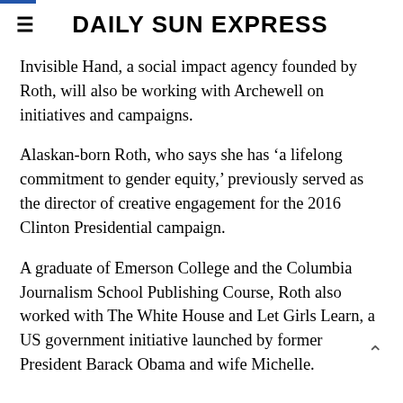DAILY SUN EXPRESS
Invisible Hand, a social impact agency founded by Roth, will also be working with Archewell on initiatives and campaigns.
Alaskan-born Roth, who says she has ‘a lifelong commitment to gender equity,’ previously served as the director of creative engagement for the 2016 Clinton Presidential campaign.
A graduate of Emerson College and the Columbia Journalism School Publishing Course, Roth also worked with The White House and Let Girls Learn, a US government initiative launched by former President Barack Obama and wife Michelle.